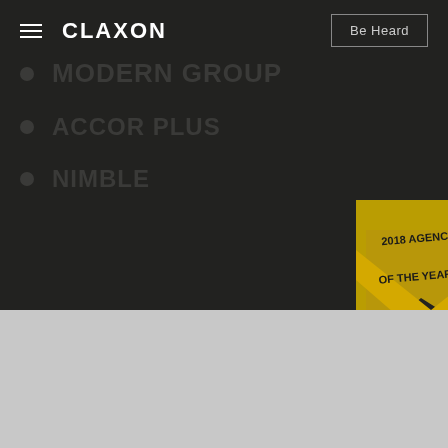CLAXON | Be Heard
MODERN GROUP
ACCOR PLUS
NIMBLE
[Figure (illustration): 2018 Agency of the Year badge with gold ribbon and chevron arrow shape in bottom-right corner]